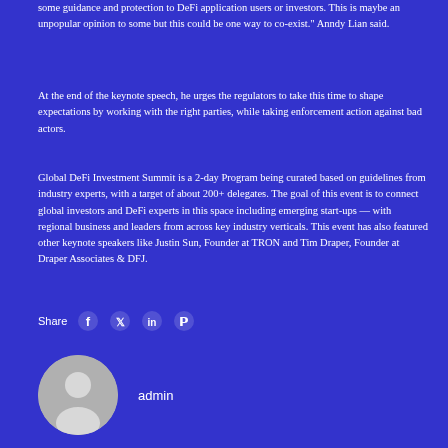some guidance and protection to DeFi application users or investors. This is maybe an unpopular opinion to some but this could be one way to co-exist." Anndy Lian said.
At the end of the keynote speech, he urges the regulators to take this time to shape expectations by working with the right parties, while taking enforcement action against bad actors.
Global DeFi Investment Summit is a 2-day Program being curated based on guidelines from industry experts, with a target of about 200+ delegates. The goal of this event is to connect global investors and DeFi experts in this space including emerging start-ups — with regional business and leaders from across key industry verticals. This event has also featured other keynote speakers like Justin Sun, Founder at TRON and Tim Draper, Founder at Draper Associates & DFJ.
Share
[Figure (illustration): User avatar circle with silhouette icon]
admin